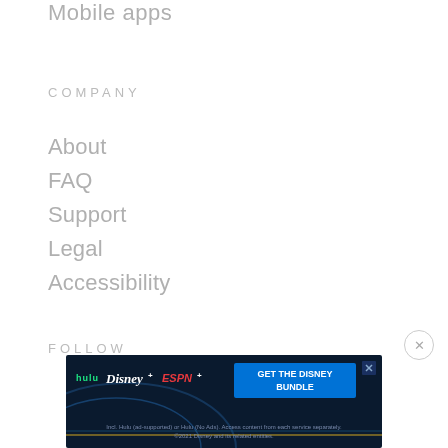Mobile apps
COMPANY
About
FAQ
Support
Legal
Accessibility
FOLLOW
[Figure (screenshot): Disney Bundle advertisement banner showing Hulu, Disney+, and ESPN+ logos with 'GET THE DISNEY BUNDLE' call-to-action button and disclaimer text]